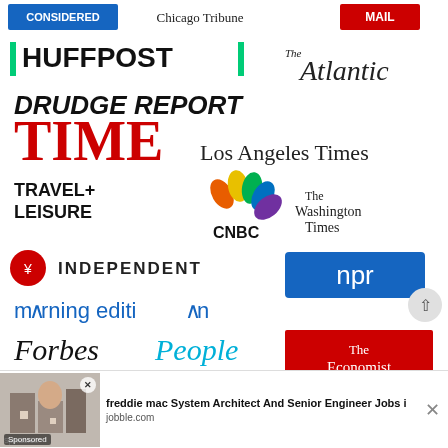[Figure (logo): Grid of media publication logos: CONSIDERED (blue), Chicago Tribune, MAIL (red), HUFFPOST (black/green), The Atlantic (italic serif), DRUDGE REPORT (bold italic), TIME (red serif), Los Angeles Times (serif), TRAVEL+LEISURE, CNBC (peacock logo), The Washington Times (blackletter), INDEPENDENT (with bird icon), NPR (blue box), morning edition (blue), Forbes, People (cyan), The Economist (red box)]
freddie mac System Architect And Senior Engineer Jobs i
Sponsored
jobble.com